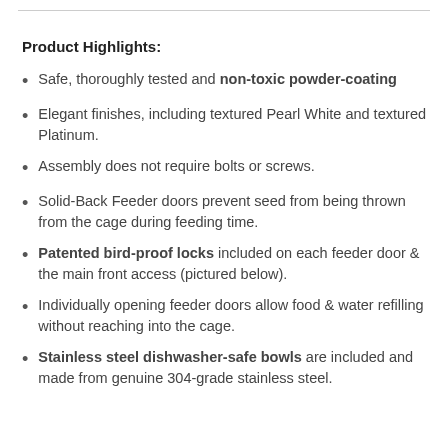Product Highlights:
Safe, thoroughly tested and non-toxic powder-coating
Elegant finishes, including textured Pearl White and textured Platinum.
Assembly does not require bolts or screws.
Solid-Back Feeder doors prevent seed from being thrown from the cage during feeding time.
Patented bird-proof locks included on each feeder door & the main front access (pictured below).
Individually opening feeder doors allow food & water refilling without reaching into the cage.
Stainless steel dishwasher-safe bowls are included and made from genuine 304-grade stainless steel.